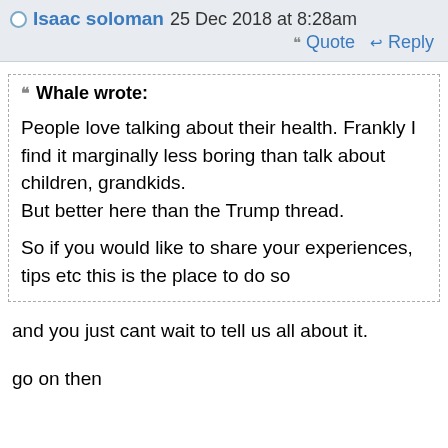Isaac soloman 25 Dec 2018 at 8:28am
Quote   Reply
Whale wrote:

People love talking about their health. Frankly I find it marginally less boring than talk about children, grandkids.
But better here than the Trump thread.

So if you would like to share your experiences, tips etc this is the place to do so
and you just cant wait to tell us all about it.

go on then